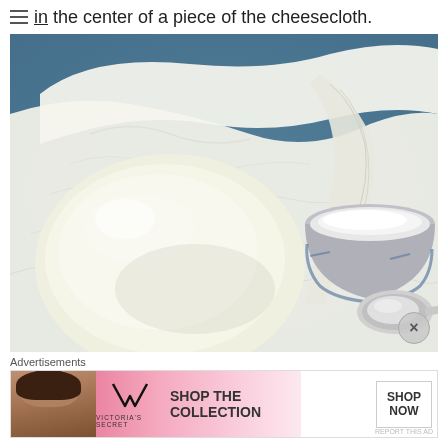in the center of a piece of the cheesecloth.
[Figure (photo): A ball of white cheese or dough wrapped in white cheesecloth/muslin, sitting in a draped cloth bag. In the upper right is a ceramic bowl filled with white granules (salt or sugar). In the lower right is a small silver measuring spoon. The background is a textured dark blue surface.]
Advertisements
[Figure (photo): Victoria's Secret advertisement banner. Shows a model on the left, the VS logo in the center-left area, 'VICTORIA'S SECRET' text below the logo, 'SHOP THE COLLECTION' text in the center, and a 'SHOP NOW' button on the right. Pink gradient background.]